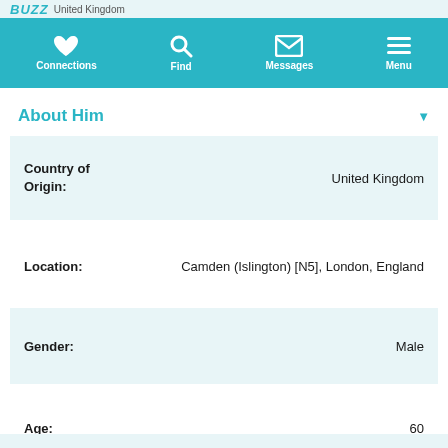BUZZ United Kingdom
[Figure (screenshot): Navigation bar with icons: Connections (heart), Find (magnifier), Messages (envelope), Menu (hamburger)]
About Him
| Field | Value |
| --- | --- |
| Country of Origin: | United Kingdom |
| Location: | Camden (Islington) [N5], London, England |
| Gender: | Male |
| Age: | 60 |
| Star Sign: | Scorpio |
| Height: | 5' 6" (168cm) |